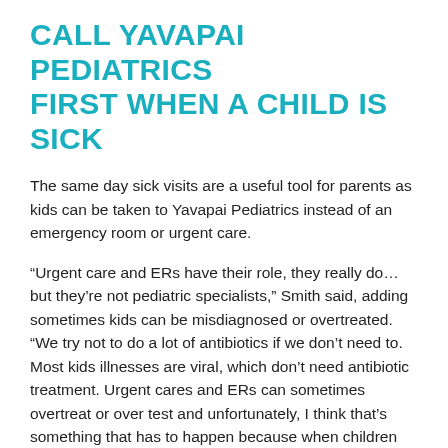CALL YAVAPAI PEDIATRICS FIRST WHEN A CHILD IS SICK
The same day sick visits are a useful tool for parents as kids can be taken to Yavapai Pediatrics instead of an emergency room or urgent care.
“Urgent care and ERs have their role, they really do… but they’re not pediatric specialists,” Smith said, adding sometimes kids can be misdiagnosed or overtreated. “We try not to do a lot of antibiotics if we don’t need to. Most kids illnesses are viral, which don’t need antibiotic treatment. Urgent cares and ERs can sometimes overtreat or over test and unfortunately, I think that’s something that has to happen because when children go to the ERs, doctors don’t know when they’re going to see this kid again.”